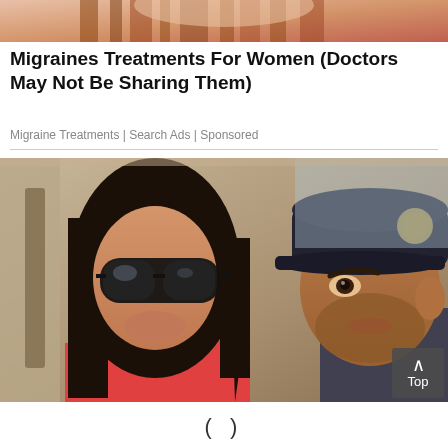[Figure (photo): Partial photo of a woman with red/auburn hair at the top of the page, cropped to show only hair/forehead area.]
Migraines Treatments For Women (Doctors May Not Be Sharing Them)
Migraine Treatments | Search Ads | Sponsored
[Figure (photo): Photo of a woman wearing large dark sunglasses and a red top, with long dark hair, sitting in a car. A man wearing a dark baseball cap with a badge/logo is visible on the right side of the image.]
(      )